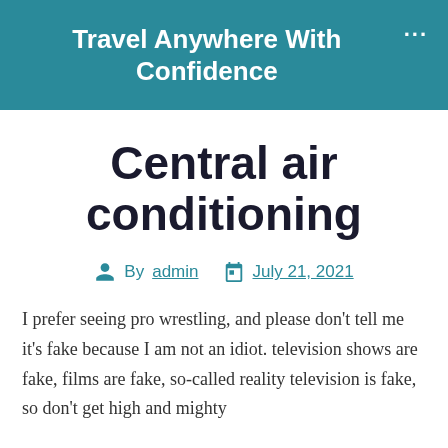Travel Anywhere With Confidence
Central air conditioning
By admin   July 21, 2021
I prefer seeing pro wrestling, and please don't tell me it's fake because I am not an idiot. television shows are fake, films are fake, so-called reality television is fake, so don't get high and mighty